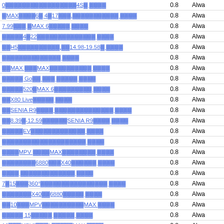| Link | Value | Status |
| --- | --- | --- |
| 0▓▓▓▓▓▓▓▓▓▓▓▓▓▓▓▓▓4S▓ ▓▓▓▓ | 0.8 | Alwa |
| ▓MAX▓▓▓▓6▓ 4▓17▓▓▓,▓▓▓▓▓▓▓▓▓▓▓ ▓▓▓▓ | 0.8 | Alwa |
| 7.99▓▓▓ ▓MAX 6▓▓▓▓▓ ▓▓▓▓ | 0.8 | Alwa |
| ▓▓▓▓▓4▓22▓▓▓▓▓▓▓▓▓▓▓▓▓▓ ▓▓▓▓ | 0.8 | Alwa |
| ▓▓H5▓▓▓▓▓▓▓▓▓▓,▓▓14.98-19.58▓ ▓▓▓▓ | 0.8 | Alwa |
| ▓▓▓▓▓▓▓▓▓▓▓▓▓▓ ▓▓▓▓ | 0.8 | Alwa |
| ▓▓MAX ▓▓▓MAX▓▓▓▓▓▓▓▓▓▓ ▓▓▓▓ | 0.8 | Alwa |
| ▓▓▓▓▓ Go▓▓ ▓▓▓ ▓▓▓▓▓ ▓▓▓▓ | 0.8 | Alwa |
| ▓▓▓▓▓520▓MAX 6▓▓▓▓▓▓▓▓▓ ▓▓▓▓ | 0.8 | Alwa |
| ▓▓X80 Live▓▓▓▓▓ ▓▓▓▓ | 0.8 | Alwa |
| ▓▓SENIA R9▓▓▓▓ ▓▓▓▓▓▓▓▓▓▓▓▓▓▓ ▓▓▓▓ | 0.8 | Alwa |
| ▓▓8.39▓-12.59▓▓▓▓▓▓SENIA R9▓▓▓▓ ▓▓▓▓ | 0.8 | Alwa |
| ▓▓▓▓▓EV▓▓▓▓▓▓▓▓▓▓▓▓▓ ▓▓▓▓ | 0.8 | Alwa |
| ▓▓▓▓▓▓▓▓▓▓▓▓▓▓▓▓▓▓▓▓ ▓▓▓▓ | 0.8 | Alwa |
| ▓▓▓▓MPV ▓▓▓▓MAX▓▓▓▓▓▓▓▓ ▓▓▓▓ | 0.8 | Alwa |
| ▓▓▓▓▓▓▓▓6880▓▓▓X40▓▓▓▓▓▓ ▓▓▓▓ | 0.8 | Alwa |
| ▓▓▓▓ ▓▓▓▓▓▓▓▓▓▓▓▓▓ ▓▓▓▓ | 0.8 | Alwa |
| 7▓15▓▓▓360°▓▓▓▓▓▓▓▓▓▓▓▓▓▓▓▓ ▓▓▓▓ | 0.8 | Alwa |
| ▓▓▓▓▓▓▓X40▓▓6880▓▓▓▓▓ ▓▓▓▓ | 0.8 | Alwa |
| ▓▓10▓▓▓MPV▓▓▓▓▓▓▓▓▓▓MAX ▓▓▓▓ | 0.8 | Alwa |
| ▓▓▓▓▓ 15▓▓▓▓▓ ▓▓▓▓▓ ▓▓▓▓ | 0.8 | Alwa |
| 10▓▓▓MPV"▓▓▓" ▓▓▓▓▓MAX ▓▓▓▓ | 0.8 | Alwa |
| ▓▓▓▓▓▓▓▓▓▓▓▓▓▓▓EV360 ▓▓▓▓ | 0.8 | Alwa |